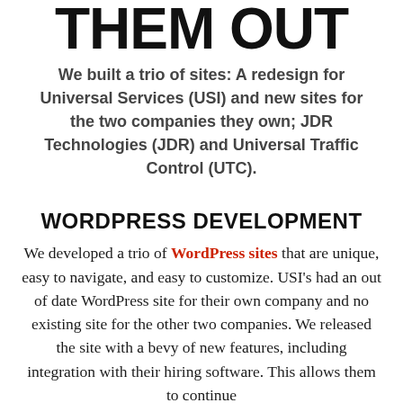THEM OUT
We built a trio of sites: A redesign for Universal Services (USI) and new sites for the two companies they own; JDR Technologies (JDR) and Universal Traffic Control (UTC).
WORDPRESS DEVELOPMENT
We developed a trio of WordPress sites that are unique, easy to navigate, and easy to customize. USI's had an out of date WordPress site for their own company and no existing site for the other two companies. We released the site with a bevy of new features, including integration with their hiring software. This allows them to continue